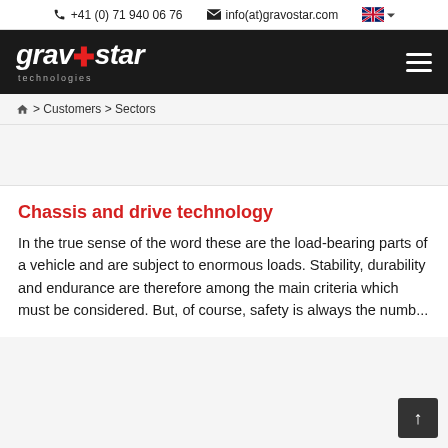+41 (0) 71 940 06 76   info(at)gravostar.com
[Figure (logo): Gravostar Technologies logo — white italic text on black background with red cross symbol]
> Customers > Sectors
Chassis and drive technology
In the true sense of the word these are the load-bearing parts of a vehicle and are subject to enormous loads. Stability, durability and endurance are therefore among the main criteria which must be considered. But, of course, safety is always the numb...